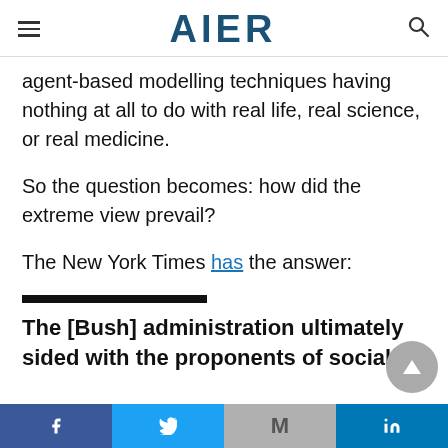AIER
agent-based modelling techniques having nothing at all to do with real life, real science, or real medicine.
So the question becomes: how did the extreme view prevail?
The New York Times has the answer:
— (blockquote rule)
The [Bush] administration ultimately sided with the proponents of social